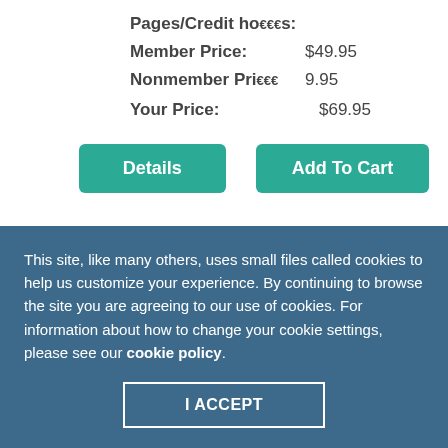Pages/Credit hours: 288
Member Price: $49.95
Nonmember Price: $69.95
Your Price: $69.95
[Figure (other): Details button (teal/green rounded rectangle)]
[Figure (other): Add To Cart button (teal/green rounded rectangle)]
ADDRESSING CLIENTS' EXPERIENCES OF RACISM: A MODEL
[Figure (photo): Partial product cover image showing a person]
This site, like many others, uses small files called cookies to help us customize your experience. By continuing to browse the site you are agreeing to our use of cookies. For information about how to change your cookie settings, please see our cookie policy.
I ACCEPT